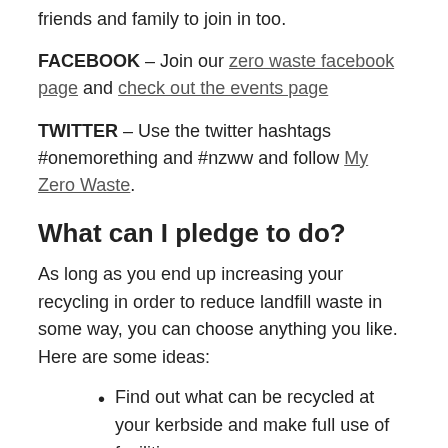friends and family to join in too.
FACEBOOK – Join our zero waste facebook page and check out the events page
TWITTER – Use the twitter hashtags #onemorething and #nzww and follow My Zero Waste.
What can I pledge to do?
As long as you end up increasing your recycling in order to reduce landfill waste in some way, you can choose anything you like. Here are some ideas:
Find out what can be recycled at your kerbside and make full use of facilities
Check your local bring banks to see what